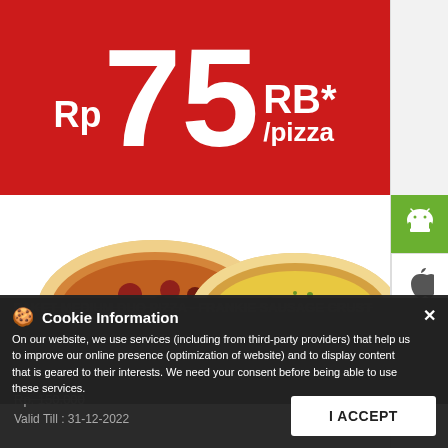Rp 75 RB* /pizza
[Figure (photo): Two pizzas on plates - one with meat/pepperoni toppings and one with cheese toppings, served on red plates against a white background]
[Figure (infographic): Side panel with Android, Apple, and another app icon]
WHATSAPP US
PAKET MEDIUM DUO PIZZA - FRANKIE SAUSAGE CRUST
Cookie Information
On our website, we use services (including from third-party providers) that help us to improve our online presence (optimization of website) and to display content that is geared to their interests. We need your consent before being able to use these services.
Value Pizza Worth +/- Rp 150.000+. Valid for Delivery, Dine In and Take Away. Price Exclude Tax
Rp. 150.000
Valid Till : 31-12-2022
I ACCEPT